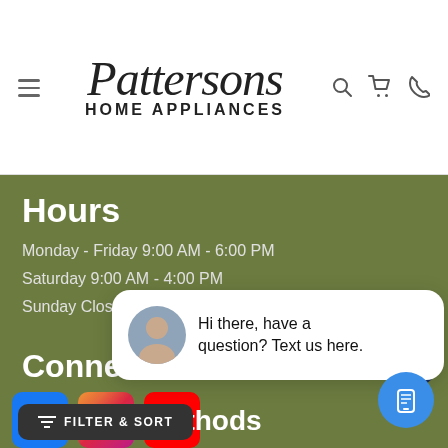[Figure (screenshot): Pattersons Home Appliances website header with logo, hamburger menu, search, cart, and phone icons]
Hours
Monday - Friday 9:00 AM - 6:00 PM
Saturday 9:00 AM - 4:00 PM
Sunday Closed
Connect
[Figure (logo): Facebook, Instagram, YouTube social media icons]
Payment Methods
Hi there, have a question? Text us here.